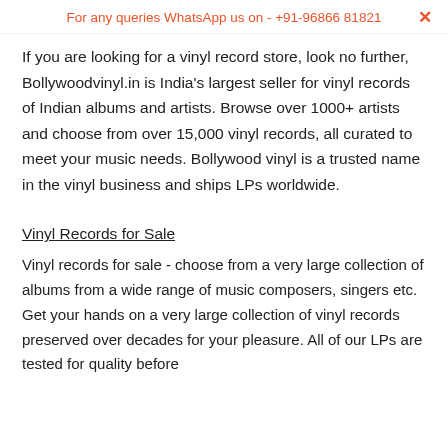For any queries WhatsApp us on - +91-96866 81821
If you are looking for a vinyl record store, look no further, Bollywoodvinyl.in is India's largest seller for vinyl records of Indian albums and artists. Browse over 1000+ artists and choose from over 15,000 vinyl records, all curated to meet your music needs. Bollywood vinyl is a trusted name in the vinyl business and ships LPs worldwide.
Vinyl Records for Sale
Vinyl records for sale - choose from a very large collection of albums from a wide range of music composers, singers etc. Get your hands on a very large collection of vinyl records preserved over decades for your pleasure. All of our LPs are tested for quality before